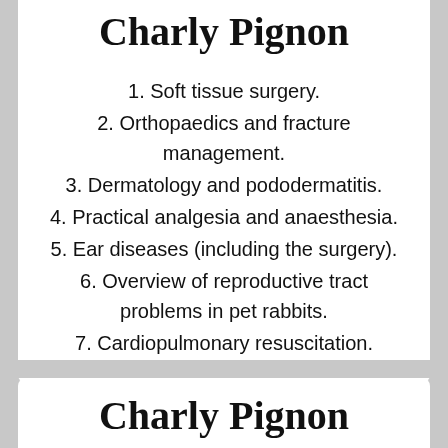Charly Pignon
1. Soft tissue surgery.
2. Orthopaedics and fracture management.
3. Dermatology and pododermatitis.
4. Practical analgesia and anaesthesia.
5. Ear diseases (including the surgery).
6. Overview of reproductive tract problems in pet rabbits.
7. Cardiopulmonary resuscitation.
Charly Pignon
1. Soft tissue surgery.